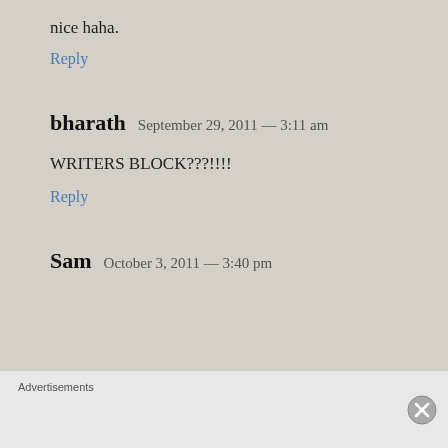nice haha.
Reply
bharath  September 29, 2011 — 3:11 am
WRITERS BLOCK???!!!!
Reply
Sam  October 3, 2011 — 3:40 pm
Advertisements